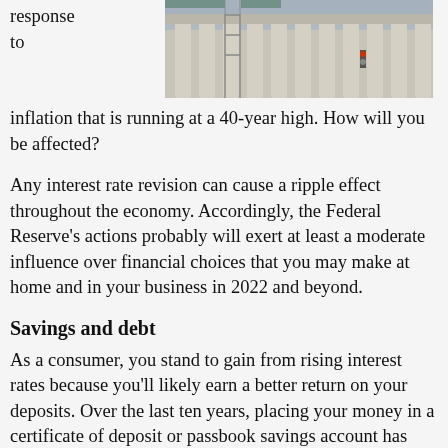response to
[Figure (photo): Photograph of a neoclassical building with columns, likely a Federal Reserve or government building, with construction scaffolding visible.]
inflation that is running at a 40-year high. How will you be affected?
Any interest rate revision can cause a ripple effect throughout the economy. Accordingly, the Federal Reserve's actions probably will exert at least a moderate influence over financial choices that you may make at home and in your business in 2022 and beyond.
Savings and debt
As a consumer, you stand to gain from rising interest rates because you'll likely earn a better return on your deposits. Over the last ten years, placing your money in a certificate of deposit or passbook savings account has been hardly more profitable than stuffing it under a mattress. On the other hand, the cost of borrowing money will likely